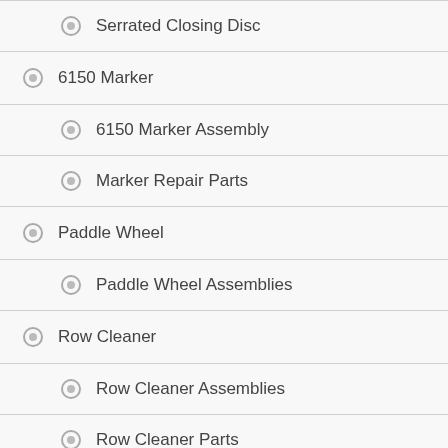Serrated Closing Disc
6150 Marker
6150 Marker Assembly
Marker Repair Parts
Paddle Wheel
Paddle Wheel Assemblies
Row Cleaner
Row Cleaner Assemblies
Row Cleaner Parts
D Bolts